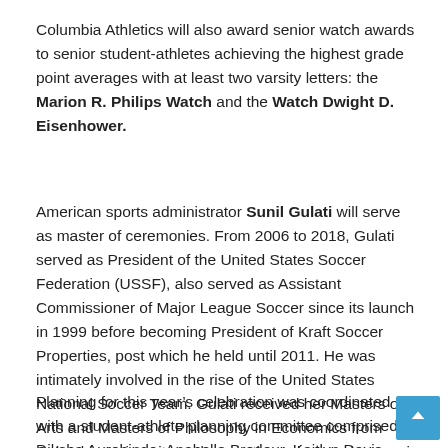Columbia Athletics will also award senior watch awards to senior student-athletes achieving the highest grade point averages with at least two varsity letters: the Marion R. Philips Watch and the Watch Dwight D. Eisenhower.
American sports administrator Sunil Gulati will serve as master of ceremonies. From 2006 to 2018, Gulati served as President of the United States Soccer Federation (USSF), also served as Assistant Commissioner of Major League Soccer since its launch in 1999 before becoming President of Kraft Soccer Properties, post which he held until 2011. He was intimately involved in the rise of the United States National Soccer Team. Gulati received her Masters of Arts and Masters of Philosophy in Economics from Columbia University and currently works as a lecturer in the Department of Economics at Columbia.
Planning for this year’s celebration was coordinated with a student-athlete planning committee comprised of Diksha Aurobindo, Anabelle Brodeur, Kaitlyn Davis, Alexis Florio, Evan